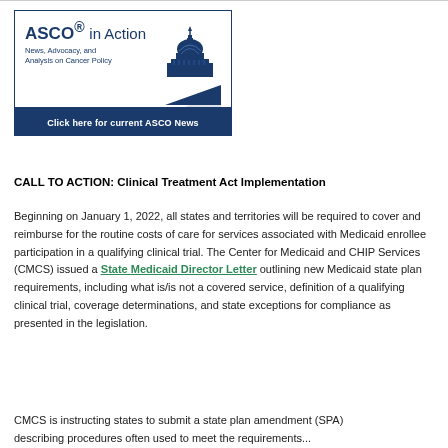[Figure (logo): ASCO in Action logo with US Capitol dome illustration and tagline 'News, Advocacy, and Analysis on Cancer Policy'. Bottom bar reads 'Click here for current ASCO News'.]
CALL TO ACTION: Clinical Treatment Act Implementation
Beginning on January 1, 2022, all states and territories will be required to cover and reimburse for the routine costs of care for services associated with Medicaid enrollee participation in a qualifying clinical trial. The Center for Medicaid and CHIP Services (CMCS) issued a State Medicaid Director Letter outlining new Medicaid state plan requirements, including what is/is not a covered service, definition of a qualifying clinical trial, coverage determinations, and state exceptions for compliance as presented in the legislation.
CMCS is instructing states to submit a state plan amendment (SPA) describing procedures often used to meet the requirements...